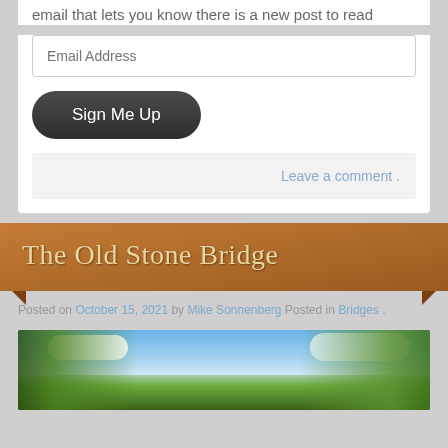email that lets you know there is a new post to read
Email Address
Sign Me Up
Leave a comment .
The Old Stone Bridge
Posted on October 15, 2021 by Mike Sonnenberg Posted in Bridges .
[Figure (photo): Outdoor photo showing tall trees with foliage against a blue sky with white clouds]